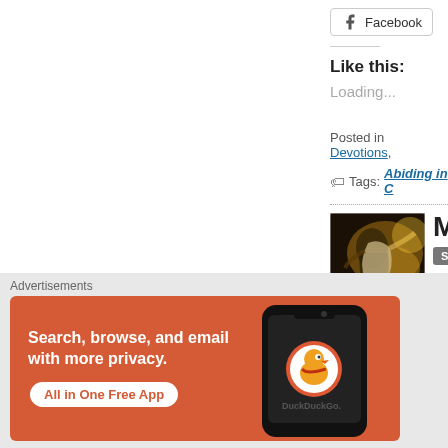Facebook
Like this:
Loading...
Posted in Devotions,
Tags: Abiding in C
[Figure (photo): Classical painting of a figure laboring, dark background with yellow highlights]
M
S
Advertisements
[Figure (other): DuckDuckGo advertisement banner with text: Search, browse, and email with more privacy. All in One Free App. DuckDuckGo.]